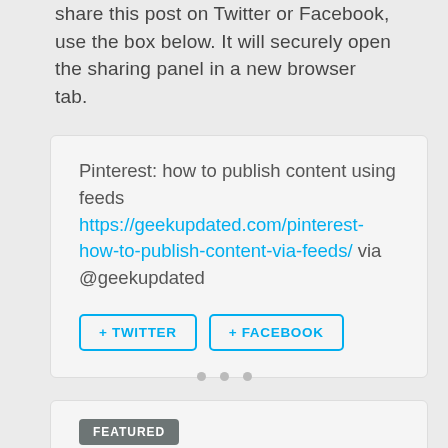share this post on Twitter or Facebook, use the box below. It will securely open the sharing panel in a new browser tab.
Pinterest: how to publish content using feeds https://geekupdated.com/pinterest-how-to-publish-content-via-feeds/ via @geekupdated
+ TWITTER   + FACEBOOK
FEATURED